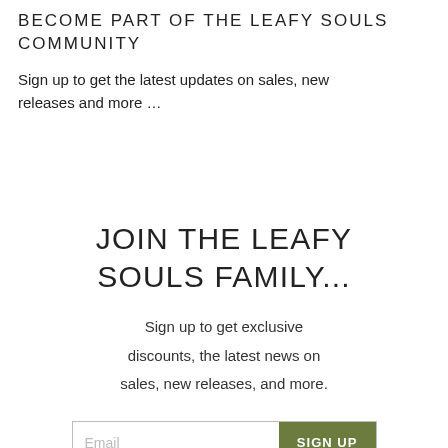BECOME PART OF THE LEAFY SOULS COMMUNITY
Sign up to get the latest updates on sales, new releases and more …
JOIN THE LEAFY SOULS FAMILY...
Sign up to get exclusive discounts, the latest news on sales, new releases, and more.